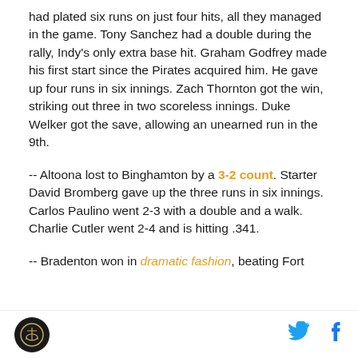had plated six runs on just four hits, all they managed in the game. Tony Sanchez had a double during the rally, Indy's only extra base hit. Graham Godfrey made his first start since the Pirates acquired him. He gave up four runs in six innings. Zach Thornton got the win, striking out three in two scoreless innings. Duke Welker got the save, allowing an unearned run in the 9th.
-- Altoona lost to Binghamton by a 3-2 count. Starter David Bromberg gave up the three runs in six innings. Carlos Paulino went 2-3 with a double and a walk. Charlie Cutler went 2-4 and is hitting .341.
-- Bradenton won in dramatic fashion, beating Fort
[logo] [twitter] [facebook]